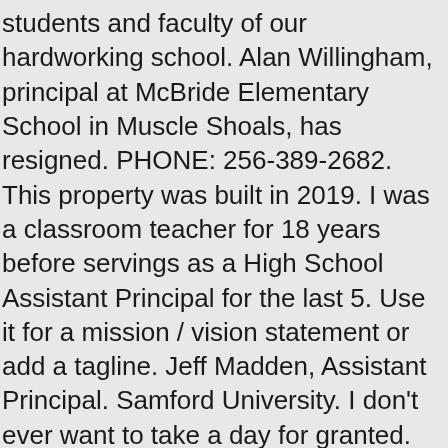students and faculty of our hardworking school. Alan Willingham, principal at McBride Elementary School in Muscle Shoals, has resigned. PHONE: 256-389-2682. This property was built in 2019. I was a classroom teacher for 18 years before servings as a High School Assistant Principal for the last 5. Use it for a mission / vision statement or add a tagline. Jeff Madden, Assistant Principal. Samford University. I don't ever want to take a day for granted. Assistant Principal Ext. Find Muscle Shoals High School test scores, student-teacher ratio, parent reviews and teacher stats. This is the second time Mrs. Eldridge has been awarded this honor. All units have central heat & air. This is also a great spot for a disclaimer on it's own, or in addition to the standard disclaimer area below. "Mistakes are PROOF that you are TRYING", ADDRESS: 1900 East Avalon Avenue, Muscle Shoals, AL 35661. School Address Twitter Facebook 1900 Avalon